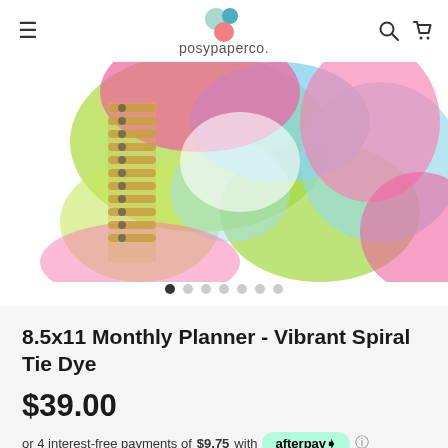posypaperco.
[Figure (photo): Spiral-bound monthly planner with vibrant tie-dye cover in pink, green, and blue, partially visible from the side showing spiral binding]
[Figure (other): Carousel dot indicators: 7 dots, first dot filled/active, rest empty]
8.5x11 Monthly Planner - Vibrant Spiral Tie Dye
$39.00
or 4 interest-free payments of $9.75 with afterpay